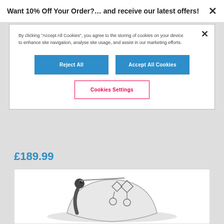Want 10% Off Your Order?… and receive our latest offers!
By clicking "Accept All Cookies", you agree to the storing of cookies on your device to enhance site navigation, analyse site usage, and assist in our marketing efforts.
Reject All
Accept All Cookies
Cookies Settings
£189.99
[Figure (photo): Product photo of a baby bouncer/rocker seat with a hanging mobile toy, shown against a white background]